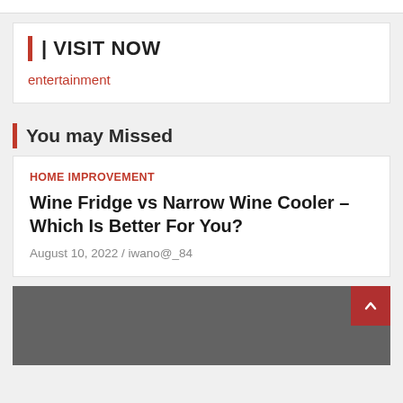| VISIT NOW
entertainment
You may Missed
HOME IMPROVEMENT
Wine Fridge vs Narrow Wine Cooler – Which Is Better For You?
August 10, 2022 / iwano@_84